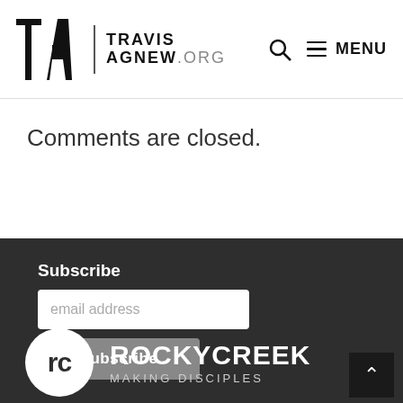TRAVIS AGNEW.ORG — MENU
Comments are closed.
Subscribe
email address
Subscribe
[Figure (logo): Rocky Creek Making Disciples logo — white circle with 'rc' letters, followed by ROCKYCREEK and MAKING DISCIPLES text in white]
Back to top arrow button